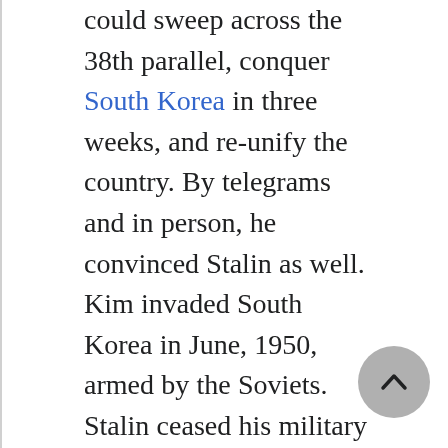could sweep across the 38th parallel, conquer South Korea in three weeks, and re-unify the country. By telegrams and in person, he convinced Stalin as well. Kim invaded South Korea in June, 1950, armed by the Soviets. Stalin ceased his military support of Kim after General Douglas MacArthur's November landing at Inchon and drive to the Chinese border. Kim then turned to Mao Tse-tung (also known as Mao Zedong), who entered the war with Chinese